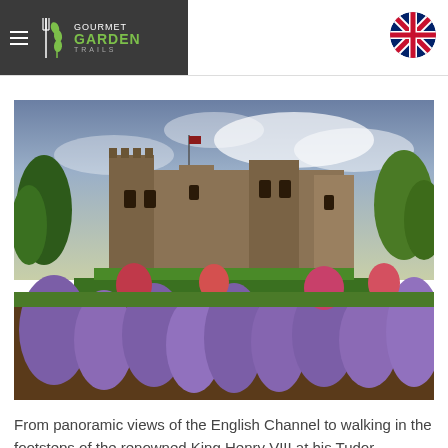GOURMET GARDEN TRAILS
[Figure (photo): Panoramic photograph of an English Tudor castle (Walmer Castle) with lush colorful gardens in the foreground featuring purple lavender, pink roses, and green hedges under a partly cloudy sky.]
From panoramic views of the English Channel to walking in the footsteps of the renowned King Henry VIII at his Tudor